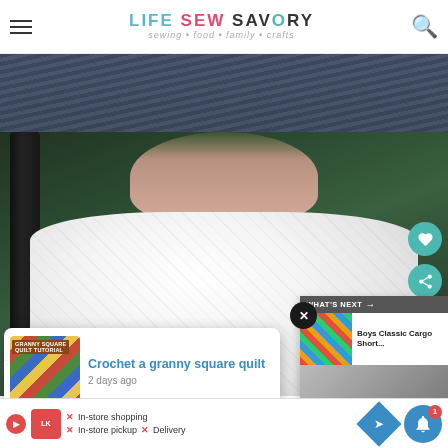Life Sew Savory — sewing • food • family • crafts
[Figure (photo): Top cropped photo showing dark jeans/clothing against dark background]
[Figure (photo): Person wearing white textured crew-neck sweatshirt/t-shirt, face cropped out, standing against dark tree and green foliage background. Heart and share floating buttons visible on right side.]
[Figure (photo): What's Next panel showing Boys Classic Cargo Short thumbnail]
[Figure (photo): Suggested article popup: Crochet a granny square quilt, with colorful granny square thumbnail, 2 days ago]
WHAT'S NEXT → Boys Classic Cargo Short...
Crochet a granny square quilt
2 days ago
✕ In-store shopping  ✕ In-store pickup  ✕ Delivery